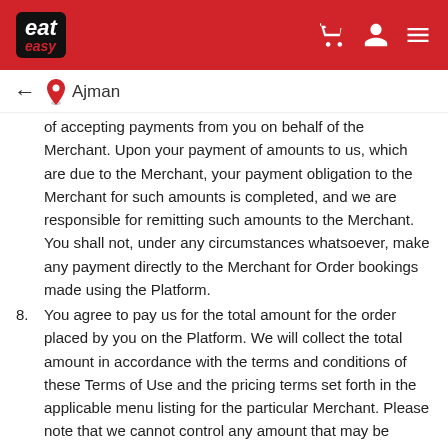[Figure (logo): EatEasy logo on red header bar with shopping cart, user, and hamburger menu icons]
← 📍 Ajman
of accepting payments from you on behalf of the Merchant. Upon your payment of amounts to us, which are due to the Merchant, your payment obligation to the Merchant for such amounts is completed, and we are responsible for remitting such amounts to the Merchant. You shall not, under any circumstances whatsoever, make any payment directly to the Merchant for Order bookings made using the Platform.
8. You agree to pay us for the total amount for the order placed by you on the Platform. We will collect the total amount in accordance with the terms and conditions of these Terms of Use and the pricing terms set forth in the applicable menu listing for the particular Merchant. Please note that we cannot control any amount that may be charged to you by your bank related to our collection of the total amount, and we disclaim all liability in this regard.
9. In connection with your order, you will be asked to